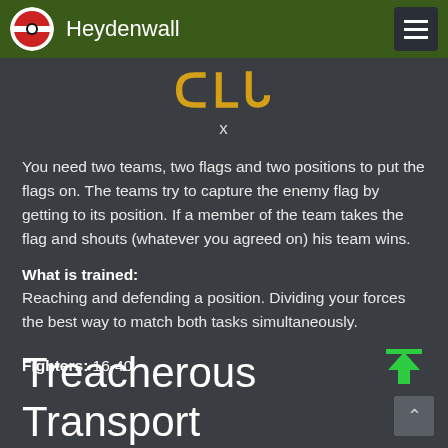Heydenwall
You need two teams, two flags and two positions to put the flags on. The teams try to capture the enemy flag by getting to its position. If a member of the team takes the flag and shouts (whatever you agreed on) his team wins.
What is trained: Reaching and defending a position. Dividing your forces the best way to match both tasks simultaneously.
Fighters: 16-40
Treacherous Transport